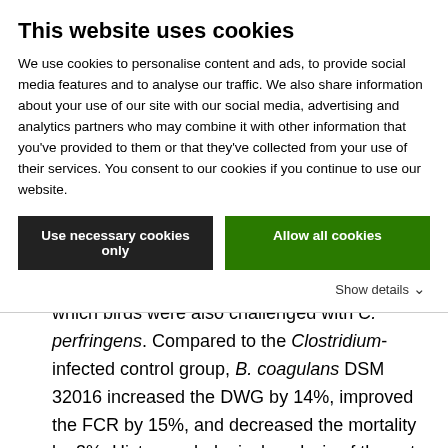This website uses cookies
We use cookies to personalise content and ads, to provide social media features and to analyse our traffic. We also share information about your use of our site with our social media, advertising and analytics partners who may combine it with other information that you've provided to them or that they've collected from your use of their services. You consent to our cookies if you continue to use our website.
Use necessary cookies only
Allow all cookies
Show details
which birds were also challenged with C. perfringens. Compared to the Clostridium-infected control group, B. coagulans DSM 32016 increased the DWG by 14%, improved the FCR by 15%, and decreased the mortality by 3%. Histomorphological analysis of the gut epithelium of pathogen-challenged broilers demonstrated an apparent increase of the villi high/crypt depth ratio in the duodenum and jejunum when B. coagulans DSM 32016 was fed (Figure 3). These findings show the stimulating effect of B.